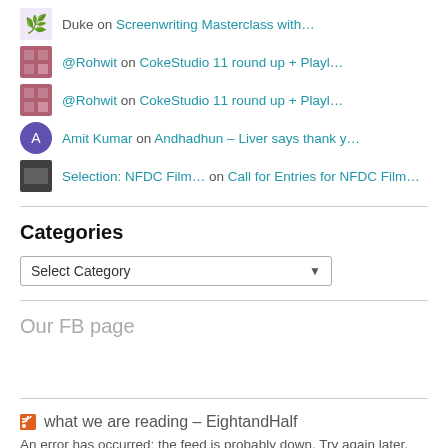Duke on Screenwriting Masterclass with…
@Rohwit on CokeStudio 11 round up + Playl…
@Rohwit on CokeStudio 11 round up + Playl…
Amit Kumar on Andhadhun – Liver says thank y…
Selection: NFDC Film… on Call for Entries for NFDC Film…
Categories
Select Category
Our FB page
what we are reading – EightandHalf
An error has occurred; the feed is probably down. Try again later.